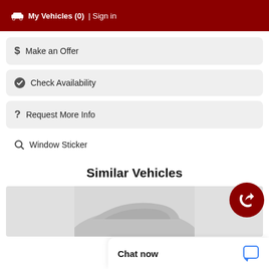🚗 My Vehicles (0) | Sign in
$ Make an Offer
✔ Check Availability
? Request More Info
🔍 Window Sticker
Similar Vehicles
[Figure (screenshot): Bottom portion of a car image showing front hood and windshield, gray background]
Chat now